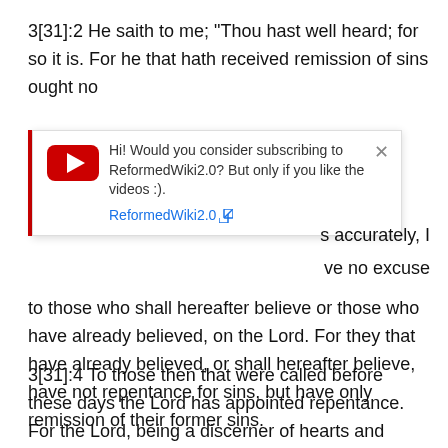3[31]:2 He saith to me; “Thou hast well heard; for so it is. For he that hath received remission of sins ought no
[Figure (screenshot): YouTube subscription popup overlay with red left border bar, YouTube play button icon, text 'Hi! Would you consider subscribing to ReformedWiki2.0? But only if you like the videos :).' and a blue link 'ReformedWiki2.0' with external link icon. An X close button is in the top right corner.]
s accurately, I
ve no excuse to those who shall hereafter believe or those who have already believed, on the Lord. For they that have already believed, or shall hereafter believe, have not repentance for sins, but have only remission of their former sins.
3[31]:4 To those then that were called before these days the Lord has appointed repentance. For the Lord, being a discerner of hearts and foreknowing all things,